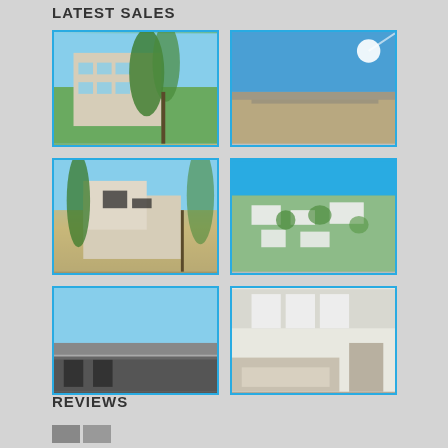LATEST SALES
[Figure (photo): Apartment building exterior with trees, blue sky]
[Figure (photo): Aerial view of beach and sea with sun glare]
[Figure (photo): Modern cubic house exterior with trees]
[Figure (photo): Aerial view of beach resort with villas and turquoise water]
[Figure (photo): Terrace/balcony overlooking the sea]
[Figure (photo): Modern interior living room white]
REVIEWS